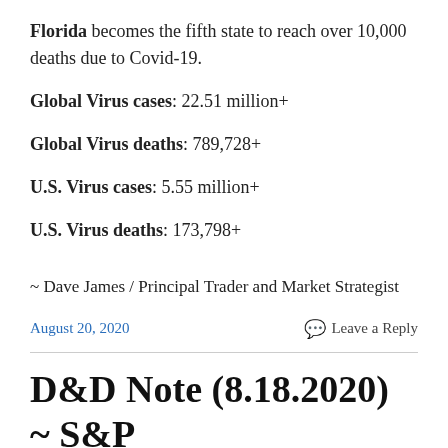Florida becomes the fifth state to reach over 10,000 deaths due to Covid-19.
Global Virus cases: 22.51 million+
Global Virus deaths: 789,728+
U.S. Virus cases: 5.55 million+
U.S. Virus deaths: 173,798+
~ Dave James / Principal Trader and Market Strategist
August 20, 2020
Leave a Reply
D&D Note (8.18.2020) ~ S&P